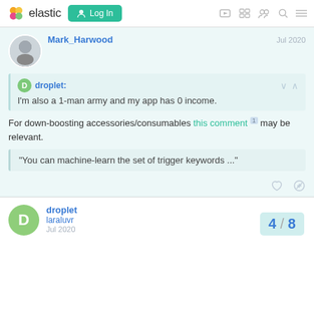elastic  Log In
Mark_Harwood  Jul 2020
droplet:
I'm also a 1-man army and my app has 0 income.
For down-boosting accessories/consumables this comment 1 may be relevant.
"You can machine-learn the set of trigger keywords ..."
droplet laraluvr  Jul 2020
4 / 8